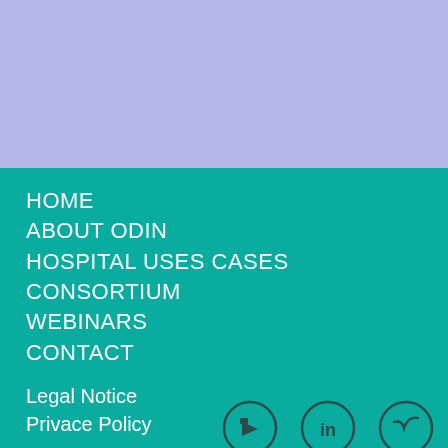[Figure (other): Light periwinkle/lavender blue top banner background area]
HOME
ABOUT ODIN
HOSPITAL USES CASES
CONSORTIUM
WEBINARS
CONTACT
Legal Notice
Privace Policy
[Figure (illustration): Three partially visible circular social media icons at the bottom right: YouTube, LinkedIn, and Twitter icons with teal circle outlines on teal background]